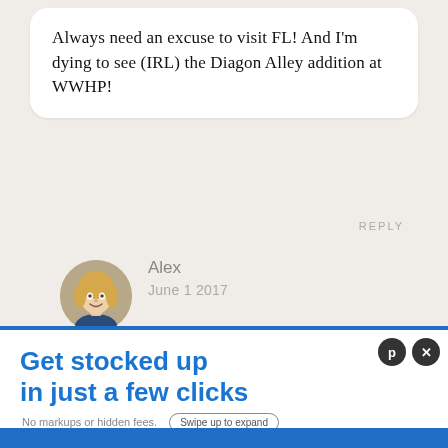Always need an excuse to visit FL! And I'm dying to see (IRL) the Diagon Alley addition at WWHP!
REPLY
[Figure (photo): Circular avatar photo of a blonde woman named Alex]
Alex
June 1 2017
If you love Hogsmeade, you'll ADORE Diagon Alley. So much to explore!
REPLY
[Figure (infographic): Advertisement banner reading 'Get stocked up in just a few clicks. No markups or hidden fees.' with a 'Swipe up to expand' button]